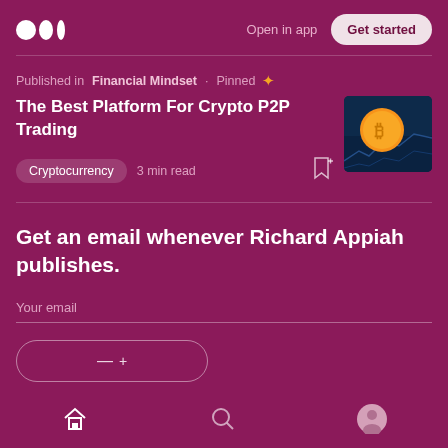Open in app  Get started
Published in Financial Mindset · Pinned
The Best Platform For Crypto P2P Trading
Cryptocurrency  3 min read
[Figure (photo): Cryptocurrency / Bitcoin coin image with blue digital background]
Get an email whenever Richard Appiah publishes.
Your email
Home  Search  Profile